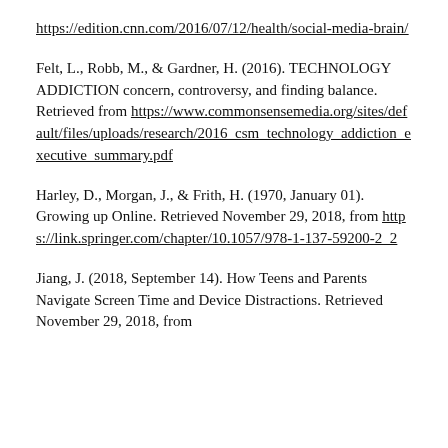https://edition.cnn.com/2016/07/12/health/social-media-brain/
Felt, L., Robb, M., & Gardner, H. (2016). TECHNOLOGY ADDICTION concern, controversy, and finding balance. Retrieved from https://www.commonsensemedia.org/sites/default/files/uploads/research/2016_csm_technology_addiction_executive_summary.pdf
Harley, D., Morgan, J., & Frith, H. (1970, January 01). Growing up Online. Retrieved November 29, 2018, from https://link.springer.com/chapter/10.1057/978-1-137-59200-2_2
Jiang, J. (2018, September 14). How Teens and Parents Navigate Screen Time and Device Distractions. Retrieved November 29, 2018, from